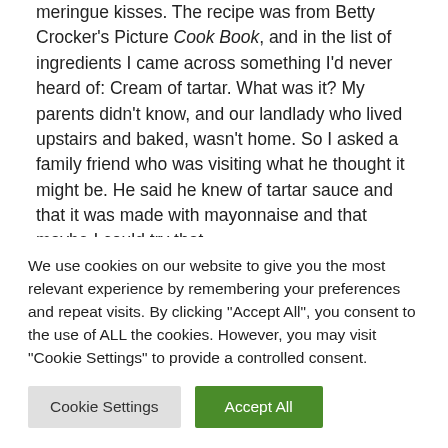meringue kisses. The recipe was from Betty Crocker's Picture Cook Book, and in the list of ingredients I came across something I'd never heard of: Cream of tartar. What was it? My parents didn't know, and our landlady who lived upstairs and baked, wasn't home. So I asked a family friend who was visiting what he thought it might be. He said he knew of tartar sauce and that it was made with mayonnaise and that maybe I could try that.

Not knowing what else to do, I plopped in ¼ teaspoon from our Best Foods jar and beat away. And beat, and beat, and nothing happened. The whites just refused to whip. I learned
We use cookies on our website to give you the most relevant experience by remembering your preferences and repeat visits. By clicking "Accept All", you consent to the use of ALL the cookies. However, you may visit "Cookie Settings" to provide a controlled consent.